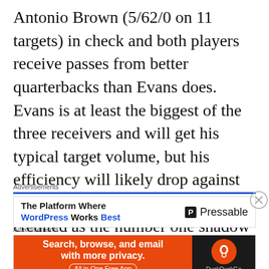Antonio Brown (5/62/0 on 11 targets) in check and both players receive passes from better quarterbacks than Evans does. Evans is at least the biggest of the three receivers and will get his typical target volume, but his efficiency will likely drop against the player Pro Football Focus credited as the number one shadow corner in 2016. I understand you're probably not sitting him but it's best to think of Evans as more of a WR3 this week.
[Figure (other): Pressable advertisement banner: 'The Platform Where WordPress Works Best' with Pressable logo on the right]
[Figure (other): DuckDuckGo advertisement banner: 'Search, browse, and email with more privacy. All in One Free App' with DuckDuckGo logo on right dark panel]